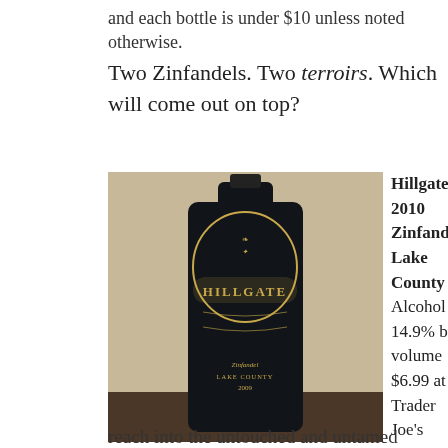and each bottle is under $10 unless noted otherwise.
Two Zinfandels. Two terroirs. Which will come out on top?
[Figure (photo): A bottle of Hillgate Zinfandel Lake County wine, dark bottle with gold label reading HILLGATE, Zinfandel Lake County 2009]
Hillgate 2010 Zinfandel Lake County Alcohol 14.9% by volume $6.99 at Trader Joe's

On the Label: “Just beyond these gates are majestic hillside vineyards that reach into the untouched and untamed wilderness
reach into the untouched and untamed wilderness